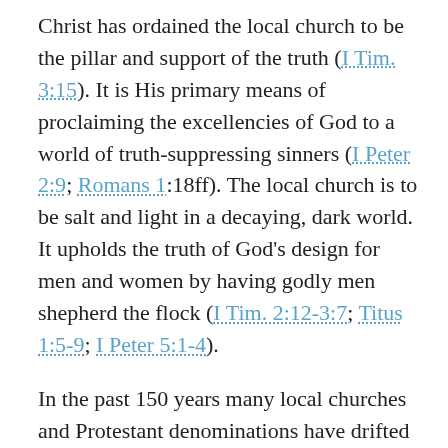Christ has ordained the local church to be the pillar and support of the truth (I Tim. 3:15). It is His primary means of proclaiming the excellencies of God to a world of truth-suppressing sinners (I Peter 2:9; Romans 1:18ff). The local church is to be salt and light in a decaying, dark world. It upholds the truth of God's design for men and women by having godly men shepherd the flock (I Tim. 2:12-3:7; Titus 1:5-9; I Peter 5:1-4).
In the past 150 years many local churches and Protestant denominations have drifted away from the conviction that formed them: all the Bible is God-breathed and therefore authoritative. A common result has been the ordaining of women to be pastors. Some of these churches now openly embrace gay Christianity, including ordaining homosexuals and